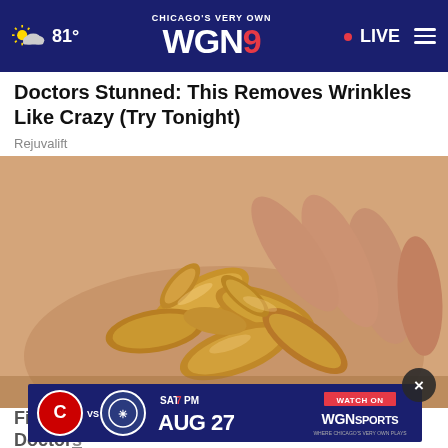81° CHICAGO'S VERY OWN WGN9 • LIVE
Doctors Stunned: This Removes Wrinkles Like Crazy (Try Tonight)
Rejuvalift
[Figure (photo): A hand holding a pile of cashew nuts against a light background]
Fight... Doctors Speechless!
[Figure (infographic): WGN Sports advertisement banner: Chicago vs opponent, SAT 7 PM, WATCH ON AUG 27, WGN SPORTS]